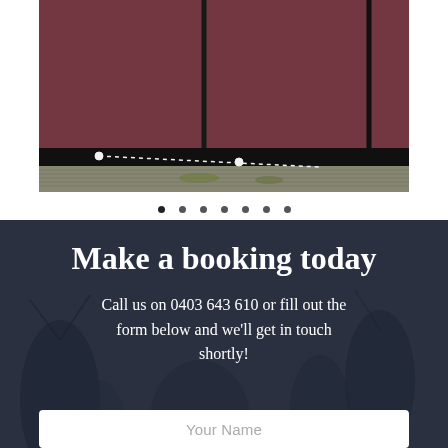[Figure (photo): Close-up photo of roof tiles with a gutter guard mesh visible along the bottom edge, with a dotted white line annotation and small marker points.]
Make a booking today
Call us on 0403 643 610 or fill out the form below and we'll get in touch shortly!